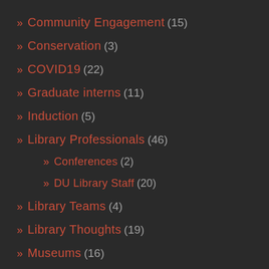» Community Engagement (15)
» Conservation (3)
» COVID19 (22)
» Graduate interns (11)
» Induction (5)
» Library Professionals (46)
» Conferences (2)
» DU Library Staff (20)
» Library Teams (4)
» Library Thoughts (19)
» Museums (16)
» Open Access (18)
» Promotion (10)
» Published@Durham (18)